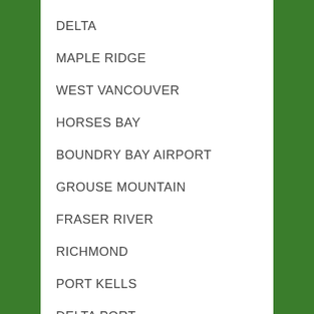DELTA
MAPLE RIDGE
WEST VANCOUVER
HORSES BAY
BOUNDRY BAY AIRPORT
GROUSE MOUNTAIN
FRASER RIVER
RICHMOND
PORT KELLS
DELTA PORT
UBC